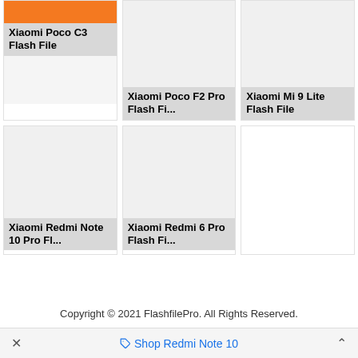[Figure (screenshot): Card grid showing Xiaomi flash file download links. Row 1: Xiaomi Poco C3 Flash File (orange header image), Xiaomi Poco F2 Pro Flash File (gray image), Xiaomi Mi 9 Lite Flash File (gray image). Row 2: Xiaomi Redmi Note 10 Pro Flash File (gray image), Xiaomi Redmi 6 Pro Flash File (gray image).]
Copyright © 2021 FlashfilePro. All Rights Reserved.
Shop Redmi Note 10